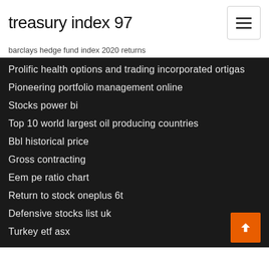treasury index 97
barclays hedge fund index 2020 returns
Prolific health options and trading incorporated ortigas
Pioneering portfolio management online
Stocks power bi
Top 10 world largest oil producing countries
Bbl historical price
Gross contracting
Eem pe ratio chart
Return to stock oneplus 6t
Defensive stocks list uk
Turkey etf asx